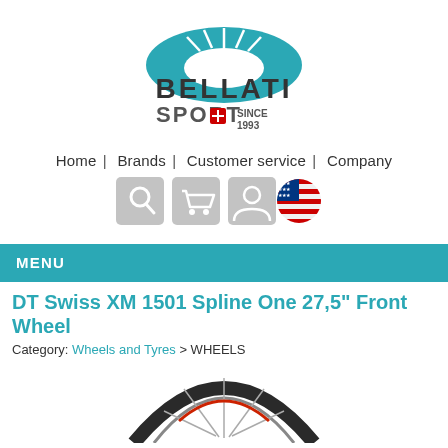[Figure (logo): Bellati Sport logo with teal cycling wheel top and dark text 'BELLATI SPORT' with Swiss cross flag and 'SINCE 1993']
Home | Brands | Customer service | Company
[Figure (infographic): Three gray icon buttons: search (magnifying glass), shopping cart, user profile; and a circular US flag icon]
MENU
DT Swiss XM 1501 Spline One 27,5" Front Wheel
Category: Wheels and Tyres > WHEELS
[Figure (photo): Partial image of a bicycle wheel (DT Swiss XM 1501) showing the top arc of a dark rim with spokes, cut off at bottom of page]